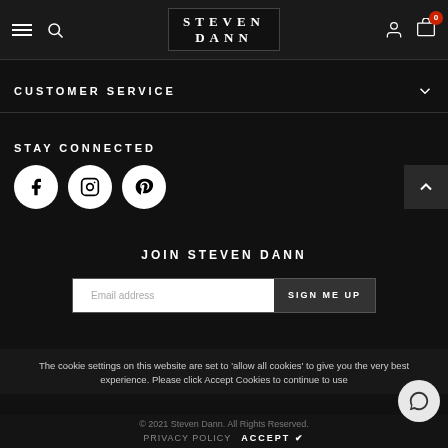Steven Dann — Navigation Header with hamburger, search, logo, user icon, cart (0)
CUSTOMER SERVICE
STAY CONNECTED
[Figure (infographic): Social media icons: Facebook, Instagram, Pinterest (white circles on dark background)]
JOIN STEVEN DANN
Email address — SIGN ME UP button
The cookie settings on this website are set to 'allow all cookies' to give you the very best experience. Please click Accept Cookies to continue to use
© 2021 Steven Dann. All Rights Reserved.
PRIVACY POLICY   ACCEPT ✔